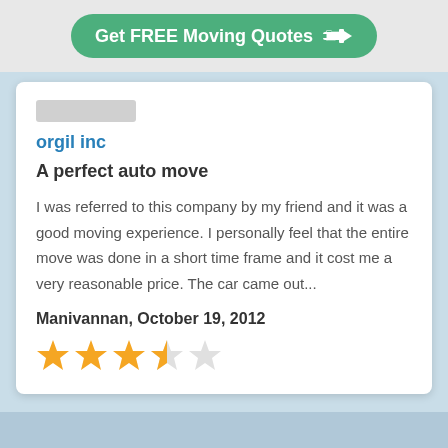[Figure (other): Green pill-shaped button with white bold text 'Get FREE Moving Quotes' and a hand/finger pointing icon on the right]
orgil inc
A perfect auto move
I was referred to this company by my friend and it was a good moving experience. I personally feel that the entire move was done in a short time frame and it cost me a very reasonable price. The car came out...
Manivannan, October 19, 2012
[Figure (other): Star rating: 3.5 out of 5 stars — three full yellow stars, one half yellow star, one empty star]